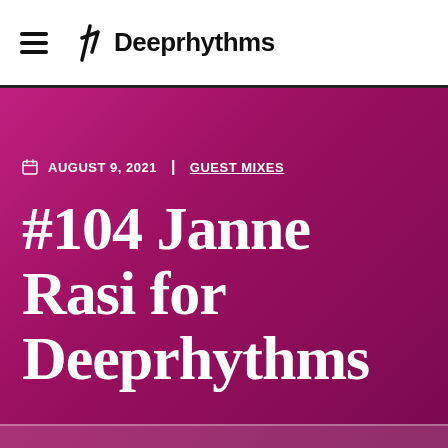Deeprhythms
AUGUST 9, 2021 | GUEST MIXES
#104 Janne Rasi for Deeprhythms